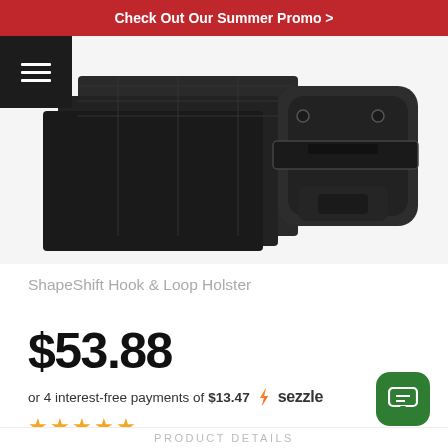Check Out Our Summer Promo >
[Figure (photo): Product photo showing black foam hook & loop pad sheets on the left and a black ShapeShift holster with straps on the right, against a white background. A hamburger menu icon is visible top-left.]
ShapeShift Hook & Loop Holster
$53.88
or 4 interest-free payments of $13.47 🌊 sezzle
★★★★★
PRODUCT DETAILS